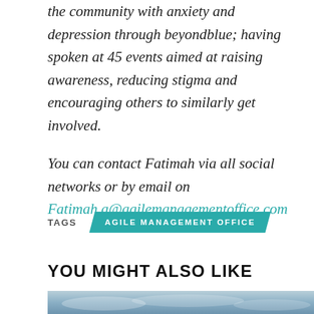the community with anxiety and depression through beyondblue; having spoken at 45 events aimed at raising awareness, reducing stigma and encouraging others to similarly get involved.
You can contact Fatimah via all social networks or by email on Fatimah.a@agilemanagementoffice.com
TAGS   AGILE MANAGEMENT OFFICE
YOU MIGHT ALSO LIKE
[Figure (photo): Sky and clouds photo strip at bottom of page]